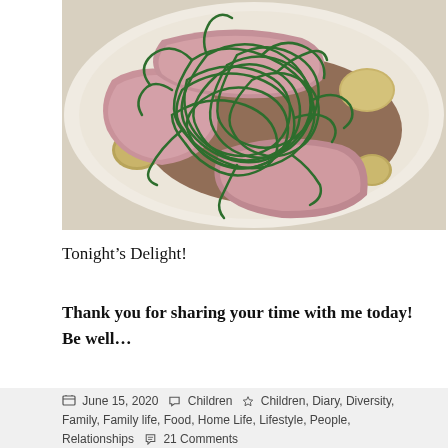[Figure (photo): A close-up photo of a dinner plate with sliced pink lamb or roast meat, a tangle of long green beans (haricots verts), golden baby potatoes, and a dark brown sauce/jus in a white bowl.]
Tonight’s Delight!
Thank you for sharing your time with me today! Be well…
June 15, 2020  Children  Children, Diary, Diversity, Family, Family life, Food, Home Life, Lifestyle, People, Relationships  21 Comments